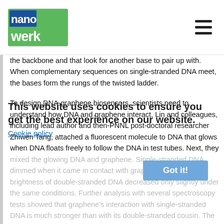nanowerk
the backbone and that look for another base to pair up with. When complementary sequences on single-stranded DNA meet, the bases form the rungs of the twisted ladder.
To design DNA-graphene biosensors, scientists need to understand how DNA and graphene interact. Lin and colleagues, including lead author and then-PNNL post-doctoral researcher Zhiwen Tang, attached a fluorescent molecule to DNA that glows when DNA floats freely to follow the DNA in test tubes. Next, they mixed the glowing DNA and graphene. Single-stranded DNA dimmed when it came in contact with graphene. But the brightness of double-stranded DNA decreased only slightly under the same conditions. Further analysis with several spectroscopy tests showed that graphene's interaction with single-stranded DNA is much stronger than with its double-stranded cousin. The tests also suggested that graphene altered single-stranded DNA's structure.
This website uses cookies to ensure you get the best experience on our website.
Cookie policy
Got it!